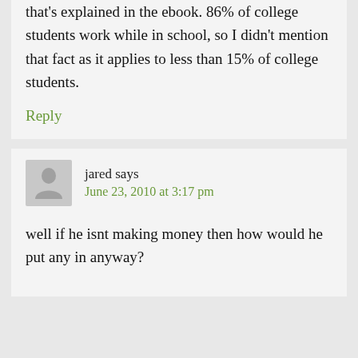that's explained in the ebook. 86% of college students work while in school, so I didn't mention that fact as it applies to less than 15% of college students.
Reply
jared says June 23, 2010 at 3:17 pm
well if he isnt making money then how would he put any in anyway?